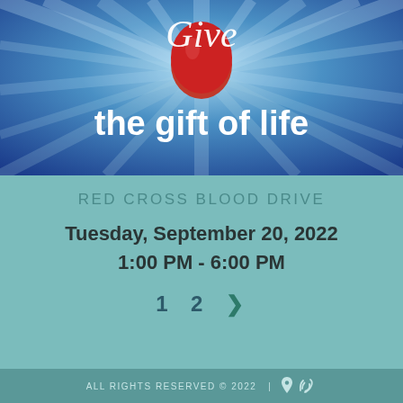[Figure (illustration): Blood drive promotional banner with radiating blue and teal rays background, red blood drop shape in center, italic cursive text 'Give' in white at top, and bold white text 'the gift of life' below]
RED CROSS BLOOD DRIVE
Tuesday, September 20, 2022
1:00 PM - 6:00 PM
1  2  >
ALL RIGHTS RESERVED © 2022   |